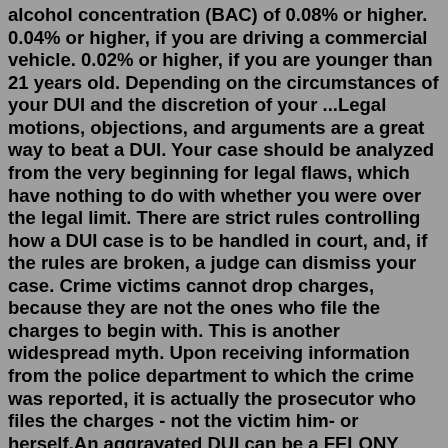alcohol concentration (BAC) of 0.08% or higher. 0.04% or higher, if you are driving a commercial vehicle. 0.02% or higher, if you are younger than 21 years old. Depending on the circumstances of your DUI and the discretion of your ...Legal motions, objections, and arguments are a great way to beat a DUI. Your case should be analyzed from the very beginning for legal flaws, which have nothing to do with whether you were over the legal limit. There are strict rules controlling how a DUI case is to be handled in court, and, if the rules are broken, a judge can dismiss your case. Crime victims cannot drop charges, because they are not the ones who file the charges to begin with. This is another widespread myth. Upon receiving information from the police department to which the crime was reported, it is actually the prosecutor who files the charges - not the victim him- or herself.An aggravated DUI can be a FELONY charge, which can follow you around for the rest of your life if a judge or jury convicts you. Furthermore, the penalties for an aggravated DUI